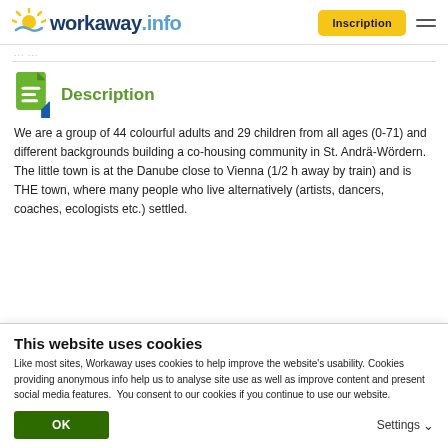workaway.info — Inscription
Description
We are a group of 44 colourful adults and 29 children from all ages (0-71) and different backgrounds building a co-housing community in St. Andrä-Wördern. The little town is at the Danube close to Vienna (1/2 h away by train) and is THE town, where many people who live alternatively (artists, dancers, coaches, ecologists etc.) settled.
This website uses cookies
Like most sites, Workaway uses cookies to help improve the website's usability. Cookies providing anonymous info help us to analyse site use as well as improve content and present social media features.  You consent to our cookies if you continue to use our website.
OK | Settings